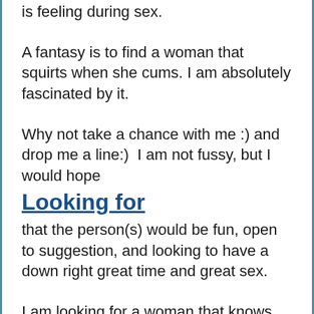is feeling during sex.
A fantasy is to find a woman that squirts when she cums. I am absolutely fascinated by it.
Why not take a chance with me :) and drop me a line:)  I am not fussy, but I would hope
Looking for
that the person(s) would be fun, open to suggestion, and looking to have a down right great time and great sex.
I am looking for a woman that knows herself